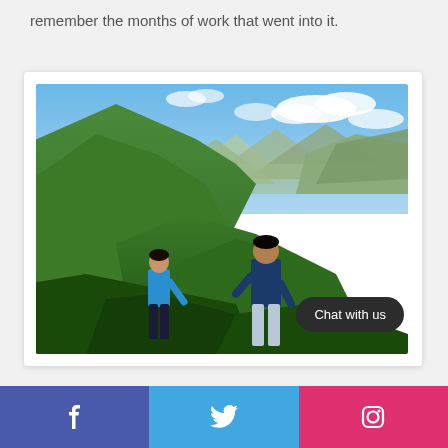remember the months of work that went into it.
[Figure (photo): Two men standing on a hillside with lush green mountain landscape and blue sky with clouds in the background. One man wears a light blue t-shirt, the other a dark blue shirt.]
Chat with us